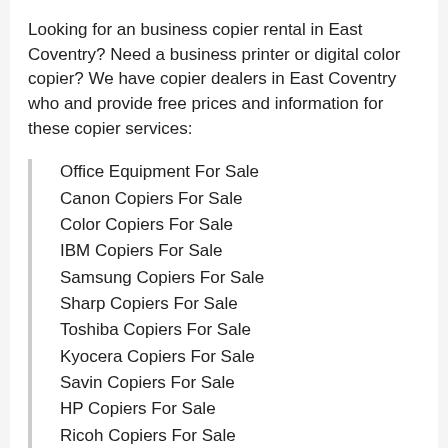Looking for an business copier rental in East Coventry? Need a business printer or digital color copier? We have copier dealers in East Coventry who and provide free prices and information for these copier services:
Office Equipment For Sale
Canon Copiers For Sale
Color Copiers For Sale
IBM Copiers For Sale
Samsung Copiers For Sale
Sharp Copiers For Sale
Toshiba Copiers For Sale
Kyocera Copiers For Sale
Savin Copiers For Sale
HP Copiers For Sale
Ricoh Copiers For Sale